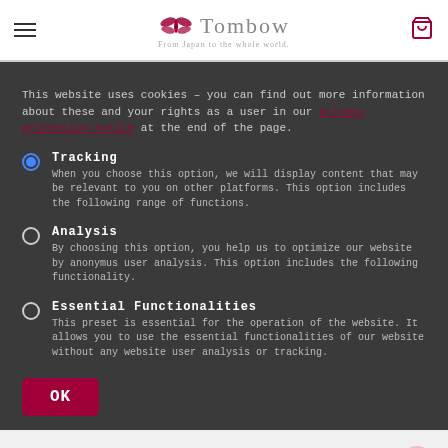Tombow — From Japan to the whole world.
This website uses cookies – you can find out more information about these and your rights as a user in our [privacy protection notice] at the end of the page.
Tracking — When you choose this option, we will display content that may be relevant to you on other platforms. This option includes the following range of functions.
Analysis — By choosing this option, you help us to optimize our website by anonymus user analysis. This option includes the following functionality.
Essential Functionalities — This preset is essential for the operation of the website. It allows you to use the essential functionalities of our website without any website user analysis or tracking.
OK
Eraser resistant: You can easily erase > on the paper without accidentally roughening it.